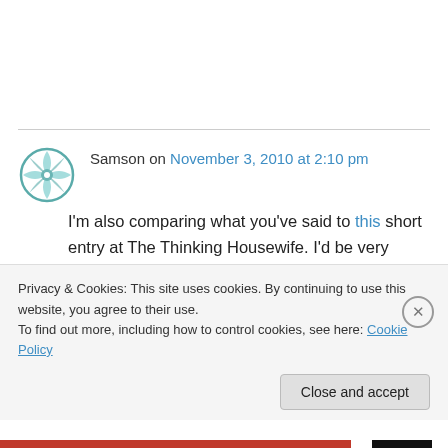Samson on November 3, 2010 at 2:10 pm
I'm also comparing what you've said to this short entry at The Thinking Housewife. I'd be very interested in voting statistics (probably unavailable) for that race.THE REPUBLICAN CONGRESSIONAL candidate Kristi Noem, who never went to college, has three children and is
Privacy & Cookies: This site uses cookies. By continuing to use this website, you agree to their use. To find out more, including how to control cookies, see here: Cookie Policy
Close and accept